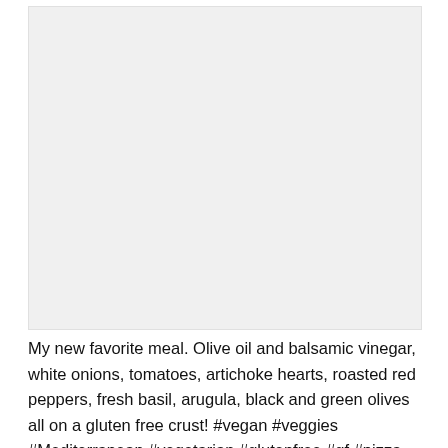[Figure (photo): A photo area (appears light gray/blank in this view) showing a meal — likely a pizza or flatbread dish]
My new favorite meal. Olive oil and balsamic vinegar, white onions, tomatoes, artichoke hearts, roasted red peppers, fresh basil, arugula, black and green olives all on a gluten free crust! #vegan #veggies #Mediterranean #vegetarian #glutenfree #gf #pizza #pizzacolore #boulder #boulderco #pearlstreet #pearlstreetmall...